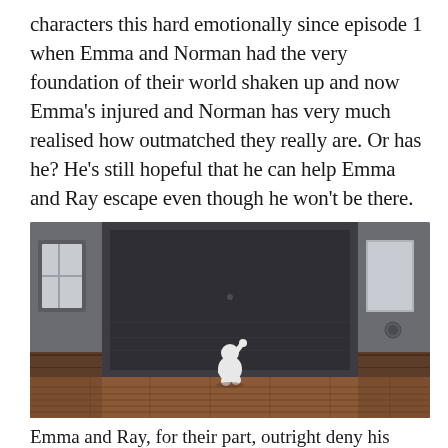characters this hard emotionally since episode 1 when Emma and Norman had the very foundation of their world shaken up and now Emma's injured and Norman has very much realised how outmatched they really are. Or has he? He's still hopeful that he can help Emma and Ray escape even though he won't be there.
[Figure (illustration): Anime screenshot showing a small white-clothed character (Norman) standing in a large dark room, raising one hand, viewed from behind. The room has wooden floors, dark walls with a large recessed area, a window on the left, and a door/panel on the right.]
Emma and Ray, for their part, outright deny his